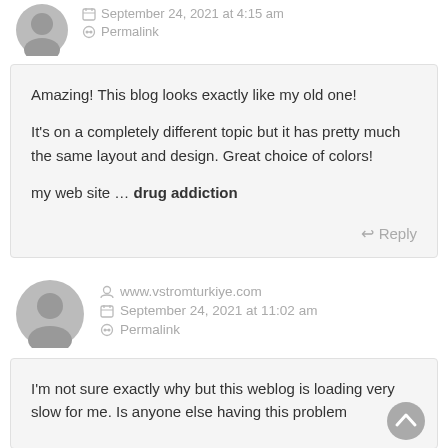September 24, 2021 at 4:15 am
Permalink
Amazing! This blog looks exactly like my old one!

It's on a completely different topic but it has pretty much the same layout and design. Great choice of colors!

my web site … drug addiction
Reply
www.vstromturkiye.com
September 24, 2021 at 11:02 am
Permalink
I'm not sure exactly why but this weblog is loading very slow for me. Is anyone else having this problem